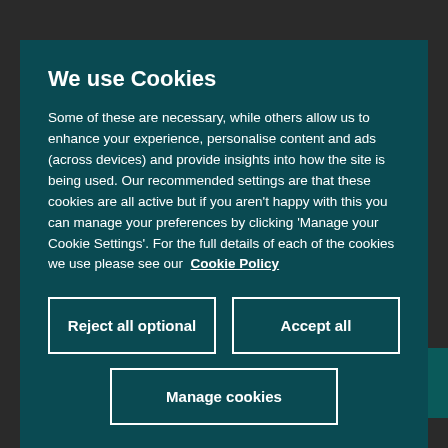We use Cookies
Some of these are necessary, while others allow us to enhance your experience, personalise content and ads (across devices) and provide insights into how the site is being used. Our recommended settings are that these cookies are all active but if you aren't happy with this you can manage your preferences by clicking 'Manage your Cookie Settings'. For the full details of each of the cookies we use please see our Cookie Policy
Reject all optional
Accept all
Manage cookies
£25,880
On The Road Price